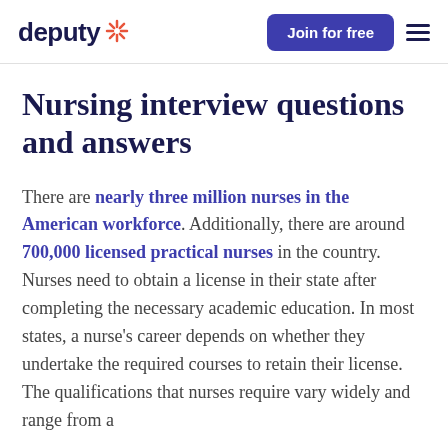deputy [logo] | Join for free [button] | [menu]
Nursing interview questions and answers
There are nearly three million nurses in the American workforce. Additionally, there are around 700,000 licensed practical nurses in the country. Nurses need to obtain a license in their state after completing the necessary academic education. In most states, a nurse's career depends on whether they undertake the required courses to retain their license. The qualifications that nurses require vary widely and range from a